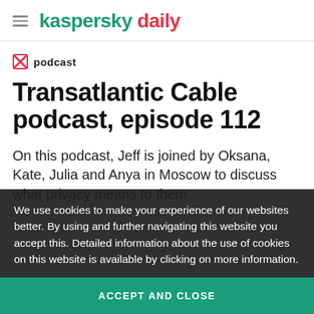kaspersky daily
podcast
Transatlantic Cable podcast, episode 112
On this podcast, Jeff is joined by Oksana, Kate, Julia and Anya in Moscow to discuss what privacy means to them.
We use cookies to make your experience of our websites better. By using and further navigating this website you accept this. Detailed information about the use of cookies on this website is available by clicking on more information.
ACCEPT AND CLOSE